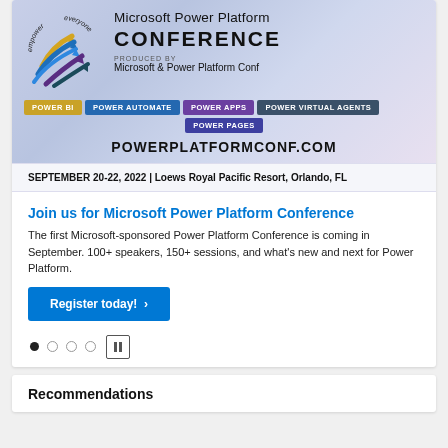[Figure (logo): Microsoft Power Platform Conference logo with colorful arrows and 'empower everyone' text around them]
Microsoft Power Platform CONFERENCE
PRODUCED BY Microsoft & Power Platform Conf
POWER BI | POWER AUTOMATE | POWER APPS | POWER VIRTUAL AGENTS | POWER PAGES
POWERPLATFORMCONF.COM
SEPTEMBER 20-22, 2022 | Loews Royal Pacific Resort, Orlando, FL
Join us for Microsoft Power Platform Conference
The first Microsoft-sponsored Power Platform Conference is coming in September. 100+ speakers, 150+ sessions, and what's new and next for Power Platform.
Register today! >
Recommendations